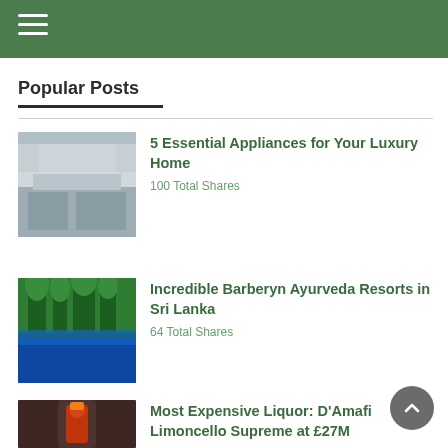Navigation header bar with hamburger menu icon
Popular Posts
[Figure (photo): Luxury kitchen interior with white cabinetry and coffered ceiling]
5 Essential Appliances for Your Luxury Home
100 Total Shares
[Figure (photo): Tropical resort with palm trees and pool in Sri Lanka]
Incredible Barberyn Ayurveda Resorts in Sri Lanka
64 Total Shares
[Figure (photo): Bottle of D'Amafi Limoncello Supreme liquor]
Most Expensive Liquor: D'Amafi Limoncello Supreme at £27M